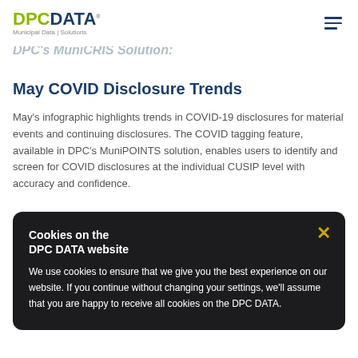DPC DATA — Municipal Data | Solutions
DPC's MuniCRIS Solution:
May COVID Disclosure Trends
May's infographic highlights trends in COVID-19 disclosures for material events and continuing disclosures. The COVID tagging feature, available in DPC's MuniPOINTS solution, enables users to identify and screen for COVID disclosures at the individual CUSIP level with accuracy and confidence.
MuniCREDIT Mapping (NFMA Product Showcase)
DPC participated in the NFMA Product Showcase on DPC's MuniCREDIT mapping tool at the NFMA Virtual Conference on May 19. Recording and video data.
Cookies on the
DPC DATA website

We use cookies to ensure that we give you the best experience on our website. If you continue without changing your settings, we'll assume that you are happy to receive all cookies on the DPC DATA.